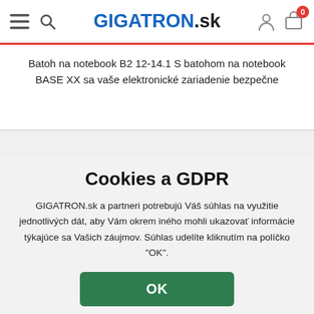GIGATRON.sk
Batoh na notebook B2 12-14.1 S batohom na notebook BASE XX sa vaše elektronické zariadenie bezpečne
Cookies a GDPR
GIGATRON.sk a partneri potrebujú Váš súhlas na využitie jednotlivých dát, aby Vám okrem iného mohli ukazovať informácie týkajúce sa Vašich záujmov. Súhlas udelíte kliknutím na políčko "OK".
OK
Podrobné nastavenia